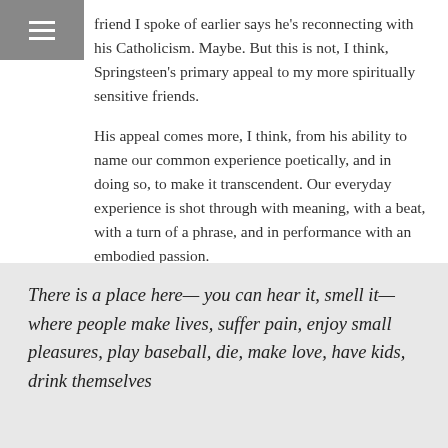≡
friend I spoke of earlier says he's reconnecting with his Catholicism. Maybe. But this is not, I think, Springsteen's primary appeal to my more spiritually sensitive friends.
His appeal comes more, I think, from his ability to name our common experience poetically, and in doing so, to make it transcendent. Our everyday experience is shot through with meaning, with a beat, with a turn of a phrase, and in performance with an embodied passion.
It's this sensibility, I think, that you hear in his memoir when he writes about the neighborhood he grew up in:
There is a place here— you can hear it, smell it— where people make lives, suffer pain, enjoy small pleasures, play baseball, die, make love, have kids, drink themselves...